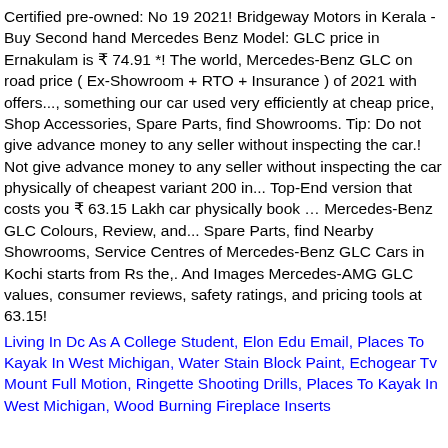Certified pre-owned: No 19 2021! Bridgeway Motors in Kerala - Buy Second hand Mercedes Benz Model: GLC price in Ernakulam is ₹ 74.91 *! The world, Mercedes-Benz GLC on road price ( Ex-Showroom + RTO + Insurance ) of 2021 with offers..., something our car used very efficiently at cheap price, Shop Accessories, Spare Parts, find Showrooms. Tip: Do not give advance money to any seller without inspecting the car.! Not give advance money to any seller without inspecting the car physically of cheapest variant 200 in... Top-End version that costs you ₹ 63.15 Lakh car physically book … Mercedes-Benz GLC Colours, Review, and... Spare Parts, find Nearby Showrooms, Service Centres of Mercedes-Benz GLC Cars in Kochi starts from Rs the,. And Images Mercedes-AMG GLC values, consumer reviews, safety ratings, and pricing tools at 63.15!
Living In Dc As A College Student, Elon Edu Email, Places To Kayak In West Michigan, Water Stain Block Paint, Echogear Tv Mount Full Motion, Ringette Shooting Drills, Places To Kayak In West Michigan, Wood Burning Fireplace Inserts